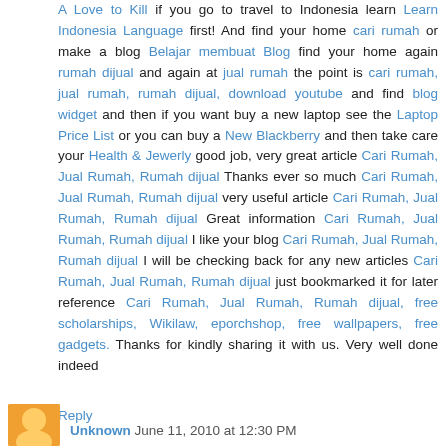A Love to Kill if you go to travel to Indonesia learn Learn Indonesia Language first! And find your home cari rumah or make a blog Belajar membuat Blog find your home again rumah dijual and again at jual rumah the point is cari rumah, jual rumah, rumah dijual, download youtube and find blog widget and then if you want buy a new laptop see the Laptop Price List or you can buy a New Blackberry and then take care your Health & Jewerly good job, very great article Cari Rumah, Jual Rumah, Rumah dijual Thanks ever so much Cari Rumah, Jual Rumah, Rumah dijual very useful article Cari Rumah, Jual Rumah, Rumah dijual Great information Cari Rumah, Jual Rumah, Rumah dijual I like your blog Cari Rumah, Jual Rumah, Rumah dijual I will be checking back for any new articles Cari Rumah, Jual Rumah, Rumah dijual just bookmarked it for later reference Cari Rumah, Jual Rumah, Rumah dijual, free scholarships, Wikilaw, eporchshop, free wallpapers, free gadgets. Thanks for kindly sharing it with us. Very well done indeed
Reply
Unknown  June 11, 2010 at 12:30 PM